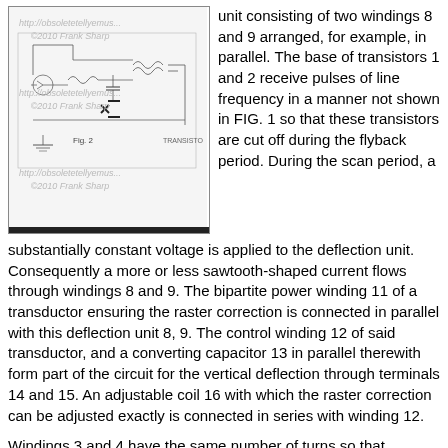[Figure (schematic): Circuit schematic diagram labeled Fig. 2 showing electronic components including transistors, windings, and connections. Watermarked with http://obsoletetellyemus... and ©2010 Frank Sharp.]
unit consisting of two windings 8 and 9 arranged, for example, in parallel. The base of transistors 1 and 2 receive pulses of line frequency in a manner not shown in FIG. 1 so that these transistors are cut off during the flyback period. During the scan period, a substantially constant voltage is applied to the deflection unit. Consequently a more or less sawtooth-shaped current flows through windings 8 and 9. The bipartite power winding 11 of a transductor ensuring the raster correction is connected in parallel with this deflection unit 8, 9. The control winding 12 of said transductor, and a converting capacitor 13 in parallel therewith form part of the circuit for the vertical deflection through terminals 14 and 15. An adjustable coil 16 with which the raster correction can be adjusted exactly is connected in series with winding 12.
Windings 3 and 4 have the same number of turns so that